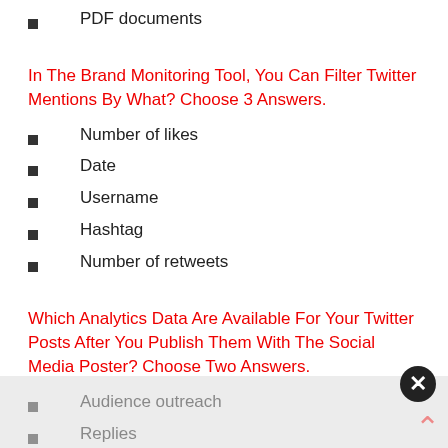PDF documents
In The Brand Monitoring Tool, You Can Filter Twitter Mentions By What? Choose 3 Answers.
Number of likes
Date
Username
Hashtag
Number of retweets
Which Analytics Data Are Available For Your Twitter Posts After You Publish Them With The Social Media Poster? Choose Two Answers.
Audience outreach
Replies
Clicks